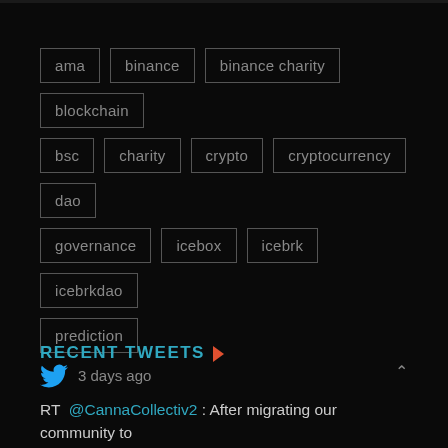ama | binance | binance charity | blockchain | bsc | charity | crypto | cryptocurrency | dao | governance | icebox | icebrk | icebrkdao | prediction
RECENT TWEETS
3 days ago
RT @CannaCollectiv2 : After migrating our community to